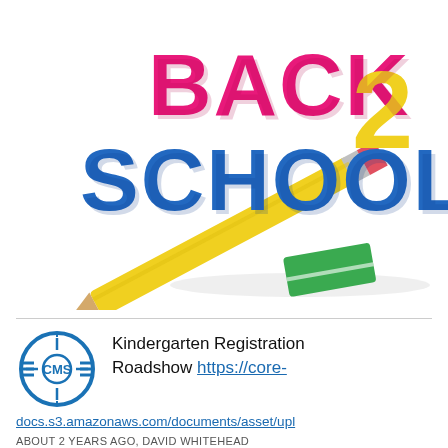[Figure (illustration): Colorful 3D 'Back 2 School' text graphic with pink 'BACK', blue 'SCHOOL', yellow '2', a yellow pencil, and a green eraser on white background.]
[Figure (logo): New Mexico CMS school district logo — blue circle with 'CMS' text and Zia sun symbol, with horizontal lines/stripes.]
Kindergarten Registration Roadshow https://core-docs.s3.amazonaws.com/documents/asset/upl
ABOUT 2 YEARS AGO, DAVID WHITEHEAD